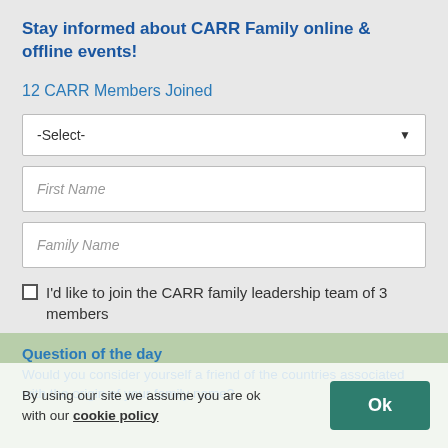Stay informed about CARR Family online & offline events!
12 CARR Members Joined
-Select-
First Name
Family Name
I'd like to join the CARR family leadership team of 3 members
Question of the day
Would you consider yourself a friend of the countries associated with the origin of your family name?
By using our site we assume you are ok with our cookie policy
Ok